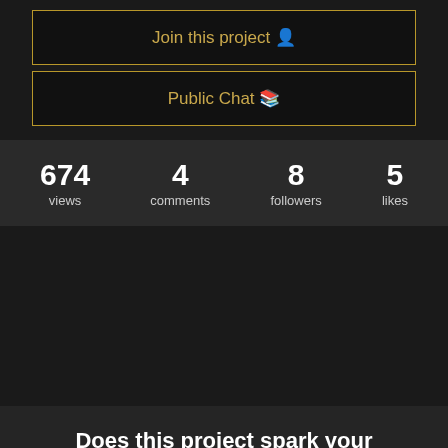Join this project 👤
Public Chat 🖥️
674 views
4 comments
8 followers
5 likes
Does this project spark your interest?
Become a member to follow this project and never miss any updates
Your email address